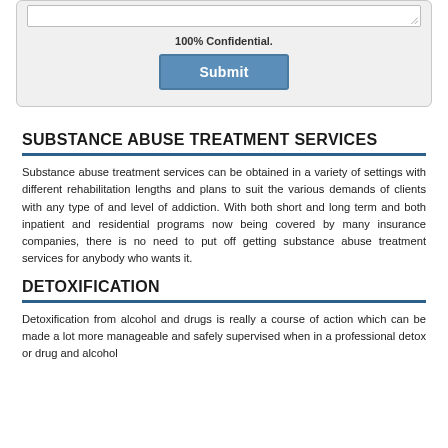[Figure (screenshot): A web form section showing a textarea with a resize handle, '100% Confidential.' text, and a blue Submit button, all within a light gray rounded box.]
SUBSTANCE ABUSE TREATMENT SERVICES
Substance abuse treatment services can be obtained in a variety of settings with different rehabilitation lengths and plans to suit the various demands of clients with any type of and level of addiction. With both short and long term and both inpatient and residential programs now being covered by many insurance companies, there is no need to put off getting substance abuse treatment services for anybody who wants it.
DETOXIFICATION
Detoxification from alcohol and drugs is really a course of action which can be made a lot more manageable and safely supervised when in a professional detox or drug and alcohol